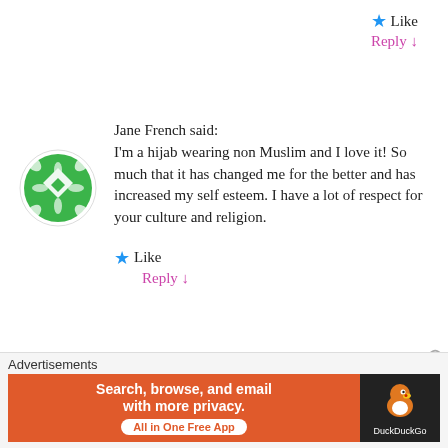★ Like
Reply ↓
[Figure (logo): Green geometric/diamond pattern avatar for Jane French]
Jane French said:
I'm a hijab wearing non Muslim and I love it! So much that it has changed me for the better and has increased my self esteem. I have a lot of respect for your culture and religion.
★ Like
Reply ↓
[Figure (logo): Orange circle logo with 'ut' script lettering for unveiledthought]
unveiledthought said:
Hi Jane

Thanks for your
Advertisements
[Figure (screenshot): DuckDuckGo advertisement banner: 'Search, browse, and email with more privacy. All in One Free App' on orange background with DuckDuckGo duck logo on dark background]